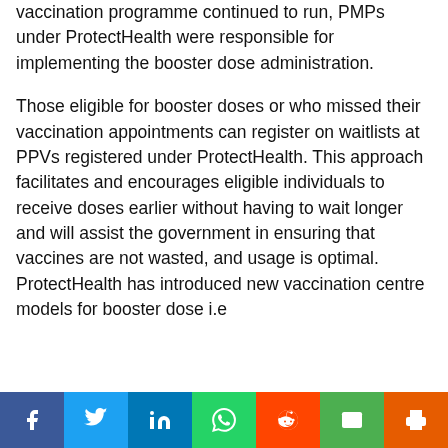vaccination programme continued to run, PMPs under ProtectHealth were responsible for implementing the booster dose administration.
Those eligible for booster doses or who missed their vaccination appointments can register on waitlists at PPVs registered under ProtectHealth. This approach facilitates and encourages eligible individuals to receive doses earlier without having to wait longer and will assist the government in ensuring that vaccines are not wasted, and usage is optimal. ProtectHealth has introduced new vaccination centre models for booster dose i.e